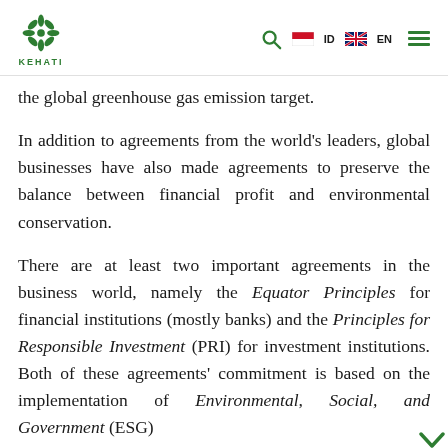KEHATI - ID EN
the global greenhouse gas emission target.
In addition to agreements from the world's leaders, global businesses have also made agreements to preserve the balance between financial profit and environmental conservation.
There are at least two important agreements in the business world, namely the Equator Principles for financial institutions (mostly banks) and the Principles for Responsible Investment (PRI) for investment institutions. Both of these agreements' commitment is based on the implementation of Environmental, Social, and Government (ESG)